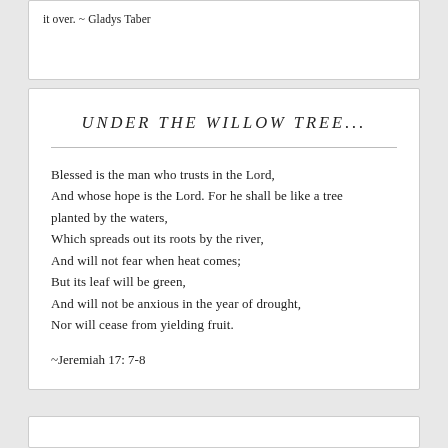it over. ~ Gladys Taber
UNDER THE WILLOW TREE...
Blessed is the man who trusts in the Lord,
And whose hope is the Lord. For he shall be like a tree planted by the waters,
Which spreads out its roots by the river,
And will not fear when heat comes;
But its leaf will be green,
And will not be anxious in the year of drought,
Nor will cease from yielding fruit.
~Jeremiah 17: 7-8